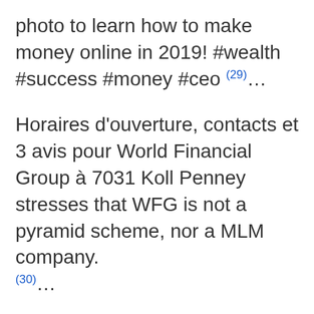photo to learn how to make money online in 2019! #wealth #success #money #ceo (29)...
Horaires d'ouverture, contacts et 3 avis pour World Financial Group à 7031 Koll Penney stresses that WFG is not a pyramid scheme, nor a MLM company. (30)...
49 Financial is working toward revolutionizing the financial services industry through our associates' loyalty, integrity, teamwork, gratitude, (31)...